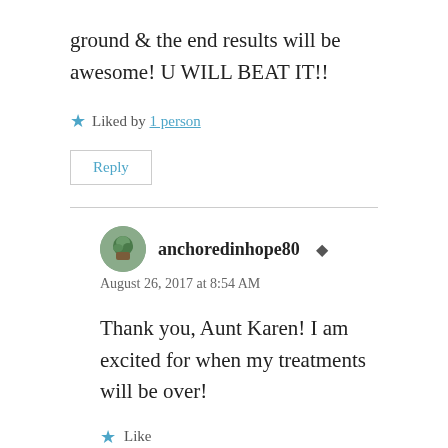ground & the end results will be awesome! U WILL BEAT IT!!
Liked by 1 person
Reply
anchoredinhope80
August 26, 2017 at 8:54 AM
Thank you, Aunt Karen! I am excited for when my treatments will be over!
Like
Reply